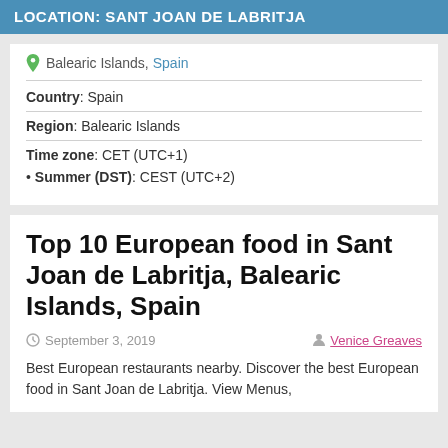LOCATION: SANT JOAN DE LABRITJA
Balearic Islands, Spain
Country: Spain
Region: Balearic Islands
Time zone: CET (UTC+1)
• Summer (DST): CEST (UTC+2)
Top 10 European food in Sant Joan de Labritja, Balearic Islands, Spain
September 3, 2019    Venice Greaves
Best European restaurants nearby. Discover the best European food in Sant Joan de Labritja. View Menus,